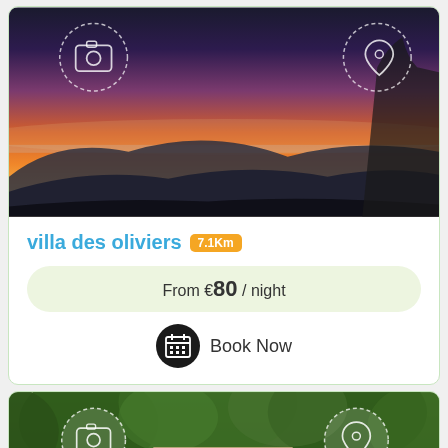[Figure (photo): Sunset landscape with orange and pink sky over misty mountain ridges and trees]
villa des oliviers 7.1Km
From €80 / night
Book Now
[Figure (photo): Stone building surrounded by trees in a forest setting]